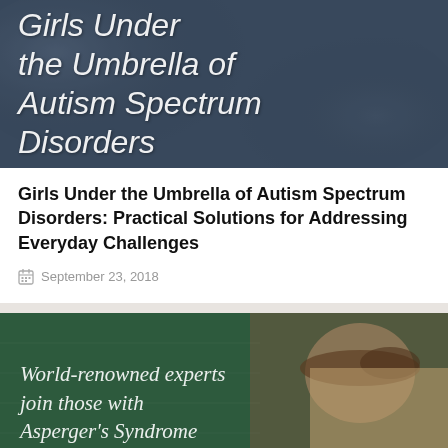[Figure (photo): Dark blue-grey cloudy/chalkboard background with white chalk-style italic text reading 'Girls Under the Umbrella of Autism Spectrum Disorders']
Girls Under the Umbrella of Autism Spectrum Disorders: Practical Solutions for Addressing Everyday Challenges
September 23, 2018
[Figure (photo): Dark green chalkboard background on the left with white italic serif text reading 'World-renowned experts join those with Asperger's Syndrome', and a partial photo of a person's face/hair on the right side]